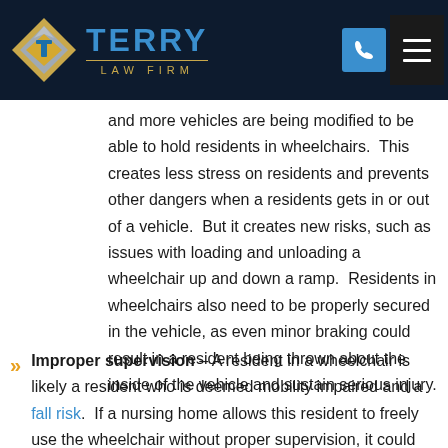Terry Law Firm
and more vehicles are being modified to be able to hold residents in wheelchairs.  This creates less stress on residents and prevents other dangers when a residents gets in or out of a vehicle.  But it creates new risks, such as issues with loading and unloading a wheelchair up and down a ramp.  Residents in wheelchairs also need to be properly secured in the vehicle, as even minor braking could result in a resident being thrown about the inside of the vehicle and sustain serious injury.
Improper supervision – A resident in a wheelchair is likely a resident who is deemed mobility impaired and a fall risk.  If a nursing home allows this resident to freely use the wheelchair without proper supervision, it could result in